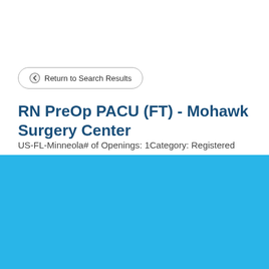← Return to Search Results
RN PreOp PACU (FT) - Mohawk Surgery Center
US-FL-Minneola# of Openings: 1Category: Registered
Cookie Settings  Got it
We use cookies so that we can remember you and understand how you use our site. If you do not agree with our use of cookies, please change the current settings found in our Cookie Policy. Otherwise, you agree to the use of the cookies as they are currently set.